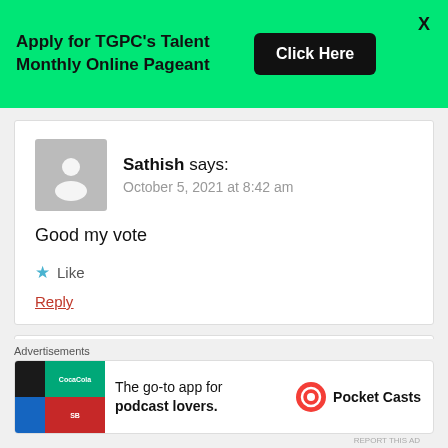[Figure (infographic): Green banner advertisement: 'Apply for TGPC's Talent Monthly Online Pageant' with a black 'Click Here' button and an X close button]
Sathish says:
October 5, 2021 at 8:42 am

Good my vote

★ Like

Reply
[Figure (infographic): Pocket Casts advertisement: 'The go-to app for podcast lovers.' with Pocket Casts logo]